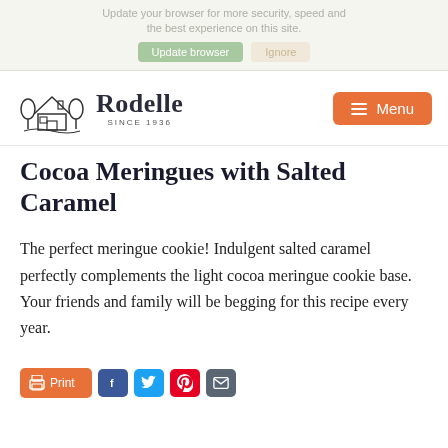Update your browser for more security, speed and the best experience on this site. [Update browser] [Ignore]
[Figure (logo): Rodelle logo with house and trees illustration, text 'Rodelle SINCE 1936']
Cocoa Meringues with Salted Caramel
The perfect meringue cookie! Indulgent salted caramel perfectly complements the light cocoa meringue cookie base. Your friends and family will be begging for this recipe every year.
[Figure (infographic): Social sharing buttons: Print, Facebook, Twitter, Pinterest, Email]